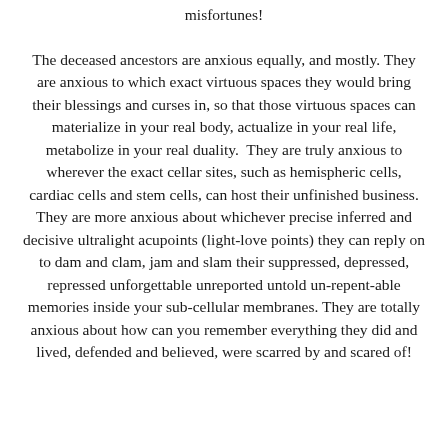misfortunes!  The deceased ancestors are anxious equally, and mostly. They are anxious to which exact virtuous spaces they would bring their blessings and curses in, so that those virtuous spaces can materialize in your real body, actualize in your real life, metabolize in your real duality.  They are truly anxious to wherever the exact cellar sites, such as hemispheric cells, cardiac cells and stem cells, can host their unfinished business. They are more anxious about whichever precise inferred and decisive ultralight acupoints (light-love points) they can reply on to dam and clam, jam and slam their suppressed, depressed, repressed unforgettable unreported untold un-repent-able memories inside your sub-cellular membranes. They are totally anxious about how can you remember everything they did and lived, defended and believed, were scarred by and scared of!